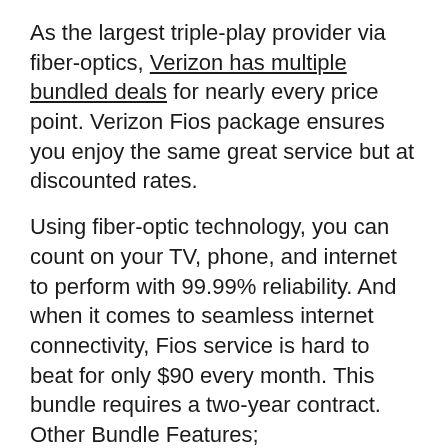As the largest triple-play provider via fiber-optics, Verizon has multiple bundled deals for nearly every price point. Verizon Fios package ensures you enjoy the same great service but at discounted rates.
Using fiber-optic technology, you can count on your TV, phone, and internet to perform with 99.99% reliability. And when it comes to seamless internet connectivity, Fios service is hard to beat for only $90 every month. This bundle requires a two-year contract. Other Bundle Features;
Unlimited calls throughout the nation
High-speed internet at 200 Mbps upload and download speeds
Fee-free Wi-Fi on the go for the first year
Supports large data transmission
Offers a free router